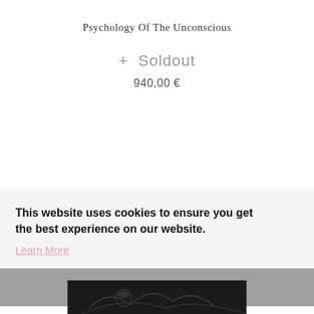Psychology Of The Unconscious
+ Soldout
940,00 €
This website uses cookies to ensure you get the best experience on our website. Learn More
Got it!
[Figure (illustration): Partial black and white illustration visible at bottom of page]